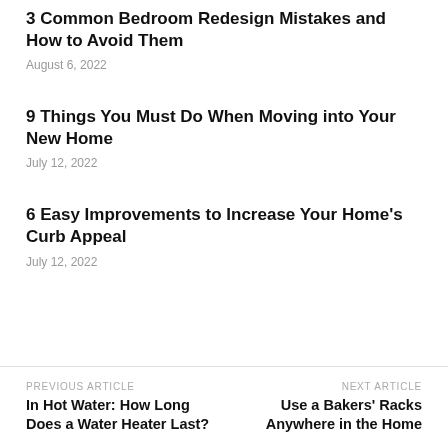3 Common Bedroom Redesign Mistakes and How to Avoid Them
August 6, 2022
9 Things You Must Do When Moving into Your New Home
July 12, 2022
6 Easy Improvements to Increase Your Home's Curb Appeal
July 12, 2022
PREVIOUS ARTICLE
In Hot Water: How Long Does a Water Heater Last?
NEXT ARTICLE
Use a Bakers' Racks Anywhere in the Home